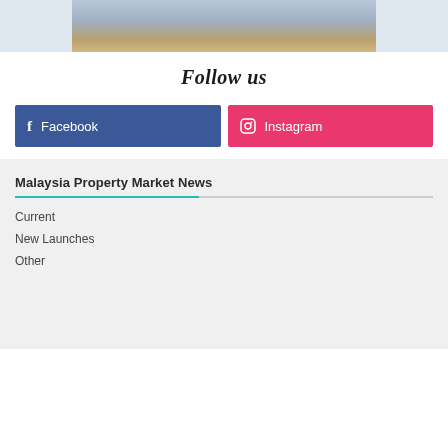[Figure (photo): Partial view of people standing in a room with leather chairs — cropped at top]
Follow us
Facebook
Instagram
Malaysia Property Market News
Current
New Launches
Other